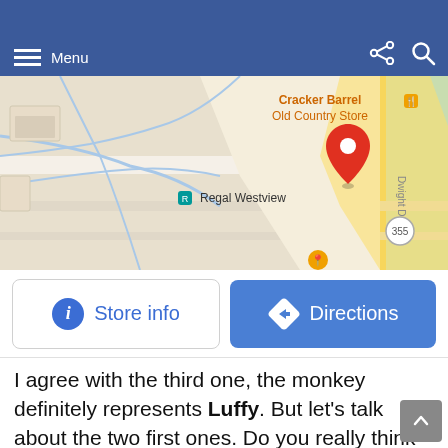Menu
[Figure (map): Google Maps view showing Cracker Barrel Old Country Store location near Regal Westview, with red pin marker, on Dwight D. road, route 355 visible]
[Figure (infographic): Two buttons: 'Store info' with blue info icon (white border button) and 'Directions' with navigation icon (blue filled button)]
I agree with the third one, the monkey definitely represents Luffy. But let's talk about the two first ones. Do you really think that Oda will use such a popular Japanese story to portray a secondary character that is Inuarashi who is on par with Nekomamushi and thus isn't that special of a mink? Do you think that Oda will use that very popular story